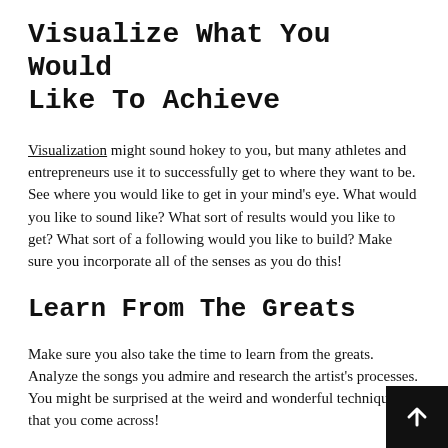Visualize What You Would Like To Achieve
Visualization might sound hokey to you, but many athletes and entrepreneurs use it to successfully get to where they want to be. See where you would like to get in your mind's eye. What would you like to sound like? What sort of results would you like to get? What sort of a following would you like to build? Make sure you incorporate all of the senses as you do this!
Learn From The Greats
Make sure you also take the time to learn from the greats. Analyze the songs you admire and research the artist's processes. You might be surprised at the weird and wonderful techniques that you come across!